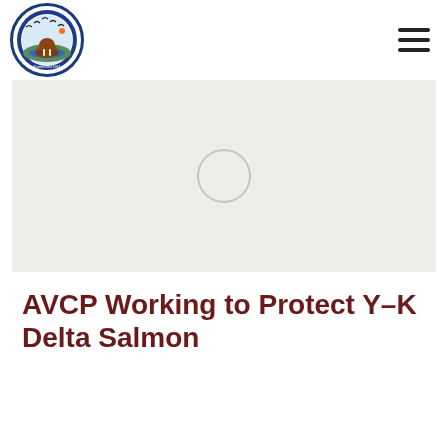[Figure (logo): Association of Village Council Presidents (AVCP) circular logo with birds, walrus, and wildlife imagery on blue border]
[Figure (photo): Large hero image area showing a loading spinner circle — image not yet loaded, light gray background]
AVCP Working to Protect Y-K Delta Salmon